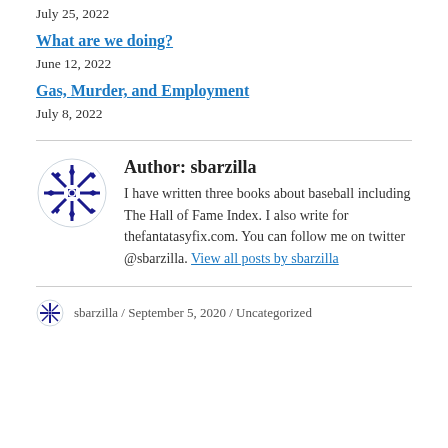July 25, 2022
What are we doing?
June 12, 2022
Gas, Murder, and Employment
July 8, 2022
Author: sbarzilla
I have written three books about baseball including The Hall of Fame Index. I also write for thefantatasyfix.com. You can follow me on twitter @sbarzilla. View all posts by sbarzilla
sbarzilla / September 5, 2020 / Uncategorized